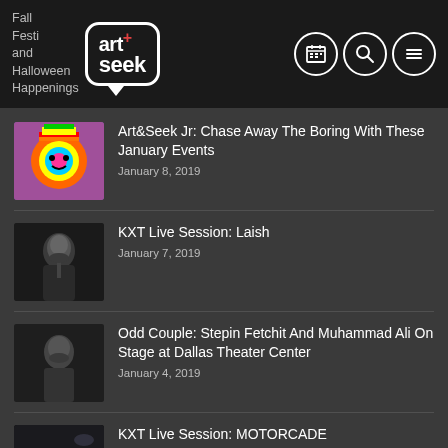Fall Festival and Halloween Happenings — Art+Seek
Art&Seek Jr: Chase Away The Boring With These January Events — January 8, 2019
KXT Live Session: Laish — January 7, 2019
Odd Couple: Stepin Fetchit And Muhammad Ali On Stage at Dallas Theater Center — January 4, 2019
KXT Live Session: MOTORCADE — January 4, 2019